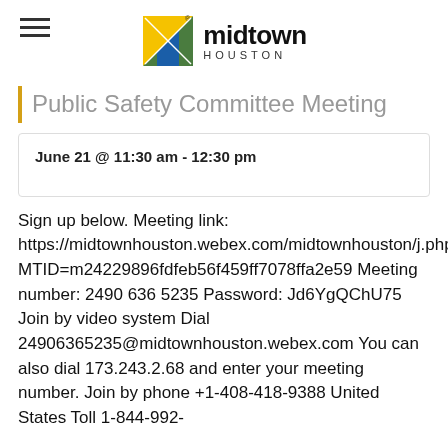midtown HOUSTON
Public Safety Committee Meeting
June 21 @ 11:30 am - 12:30 pm
Sign up below. Meeting link: https://midtownhouston.webex.com/midtownhouston/j.php?MTID=m24229896fdfeb56f459ff7078ffa2e59 Meeting number: 2490 636 5235 Password: Jd6YgQChU75 Join by video system Dial 24906365235@midtownhouston.webex.com You can also dial 173.243.2.68 and enter your meeting number. Join by phone +1-408-418-9388 United States Toll 1-844-992-